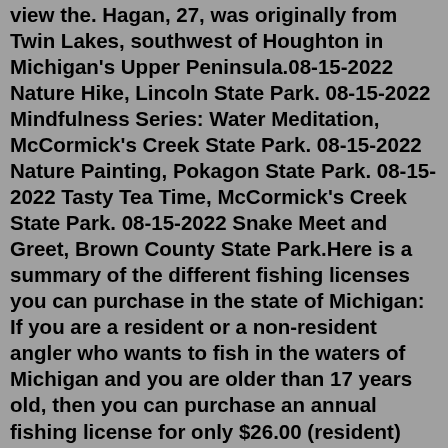view the. Hagan, 27, was originally from Twin Lakes, southwest of Houghton in Michigan's Upper Peninsula.08-15-2022 Nature Hike, Lincoln State Park. 08-15-2022 Mindfulness Series: Water Meditation, McCormick's Creek State Park. 08-15-2022 Nature Painting, Pokagon State Park. 08-15-2022 Tasty Tea Time, McCormick's Creek State Park. 08-15-2022 Snake Meet and Greet, Brown County State Park.Here is a summary of the different fishing licenses you can purchase in the state of Michigan: If you are a resident or a non-resident angler who wants to fish in the waters of Michigan and you are older than 17 years old, then you can purchase an annual fishing license for only $26.00 (resident) and $76.00 (non-resident).The DNR Customer Service Center is located in: Indiana Government Center South, 402 W. Washington St., Room W160. Indianapolis, IN 46204-2739. Customer Service Center hours are 8:30 a.m. to 4 p.m., call 317-232-4200, Monday through Friday. By Mail. Send your order with the following: Name. Date